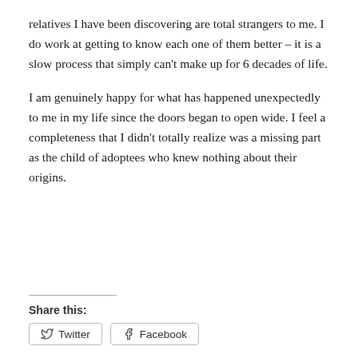relatives I have been discovering are total strangers to me. I do work at getting to know each one of them better – it is a slow process that simply can't make up for 6 decades of life.
I am genuinely happy for what has happened unexpectedly to me in my life since the doors began to open wide. I feel a completeness that I didn't totally realize was a missing part as the child of adoptees who knew nothing about their origins.
Share this: